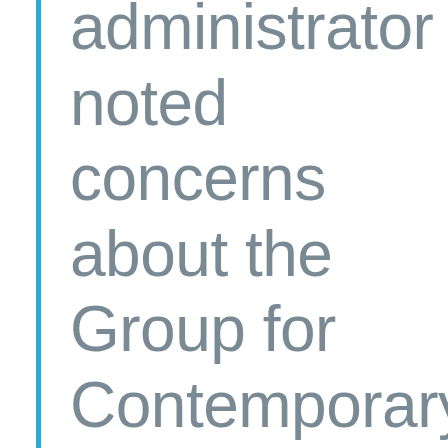administrator noted concerns about the Group for Contemporary Music's failure